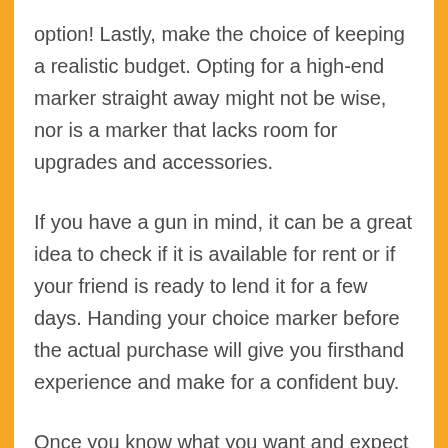option! Lastly, make the choice of keeping a realistic budget. Opting for a high-end marker straight away might not be wise, nor is a marker that lacks room for upgrades and accessories.
If you have a gun in mind, it can be a great idea to check if it is available for rent or if your friend is ready to lend it for a few days. Handing your choice marker before the actual purchase will give you firsthand experience and make for a confident buy.
Once you know what you want and expect from your purchase, it's time to hit the stores. While